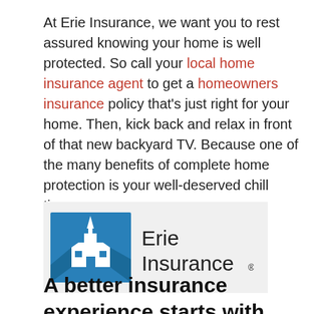At Erie Insurance, we want you to rest assured knowing your home is well protected. So call your local home insurance agent to get a homeowners insurance policy that's just right for your home. Then, kick back and relax in front of that new backyard TV. Because one of the many benefits of complete home protection is your well-deserved chill time.
[Figure (logo): Erie Insurance logo — blue building icon with white church/steeple silhouette, beside 'Erie Insurance' text in dark gray with registered trademark symbol]
A better insurance experience starts with